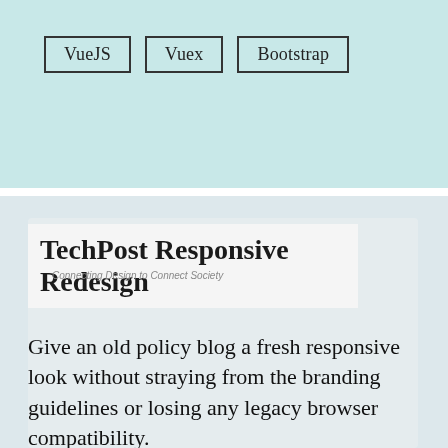VueJS
Vuex
Bootstrap
TechPost Responsive Redesign
Give an old policy blog a fresh responsive look without straying from the branding guidelines or losing any legacy browser compatibility.